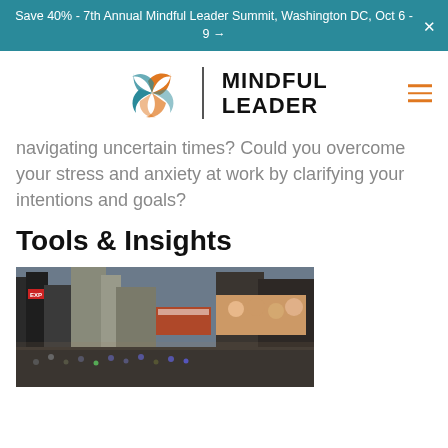Save 40% - 7th Annual Mindful Leader Summit, Washington DC, Oct 6 - 9 →
[Figure (logo): Mindful Leader logo with orange/teal swirl icon and bold text MINDFUL LEADER]
navigating uncertain times? Could you overcome your stress and anxiety at work by clarifying your intentions and goals?
Tools & Insights
[Figure (photo): Aerial photo of a busy Times Square or similar urban city square filled with crowds and tall buildings with billboards]